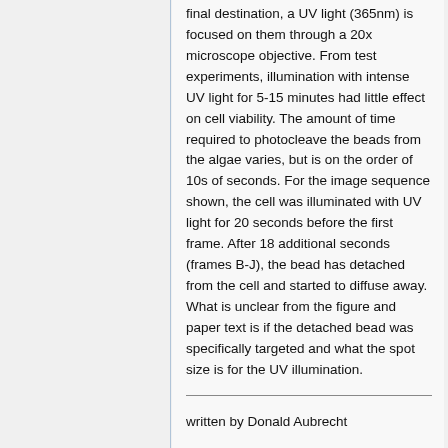final destination, a UV light (365nm) is focused on them through a 20x microscope objective. From test experiments, illumination with intense UV light for 5-15 minutes had little effect on cell viability. The amount of time required to photocleave the beads from the algae varies, but is on the order of 10s of seconds. For the image sequence shown, the cell was illuminated with UV light for 20 seconds before the first frame. After 18 additional seconds (frames B-J), the bead has detached from the cell and started to diffuse away. What is unclear from the figure and paper text is if the detached bead was specifically targeted and what the spot size is for the UV illumination.
written by Donald Aubrecht